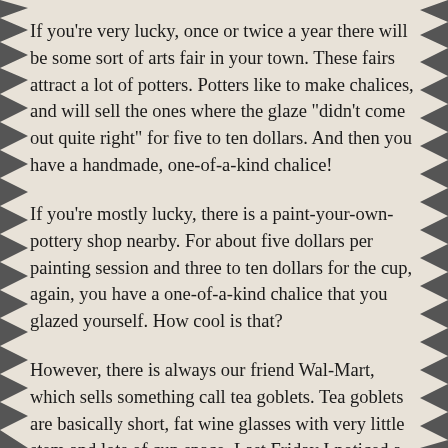If you're very lucky, once or twice a year there will be some sort of arts fair in your town. These fairs attract a lot of potters. Potters like to make chalices, and will sell the ones where the glaze "didn't come out quite right" for five to ten dollars. And then you have a handmade, one-of-a-kind chalice!
If you're mostly lucky, there is a paint-your-own-pottery shop nearby. For about five dollars per painting session and three to ten dollars for the cup, again, you have a one-of-a-kind chalice that you glazed yourself. How cool is that?
However, there is always our friend Wal-Mart, which sells something call tea goblets. Tea goblets are basically short, fat wine glasses with very little stem and lots of cup space. Last Friday I noticed a choice of green or brown tea goblets for...